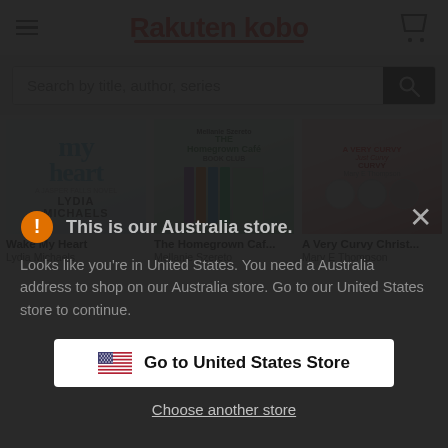Rakuten kobo
Search by title, author, series
[Figure (screenshot): Book covers: Wake My Heart by Lydia Michaels, The Homegrown Caf... by Mellanie Szereto, A Very Curvy Christ... by Mary E Thompson]
Wake My Heart
Lydia Michaels
The Homegrown Caf...
Mellanie Szereto
A Very Curvy Christ...
Mary E Thompson
This is our Australia store.
Looks like you're in United States. You need a Australia address to shop on our Australia store. Go to our United States store to continue.
Go to United States Store
Choose another store